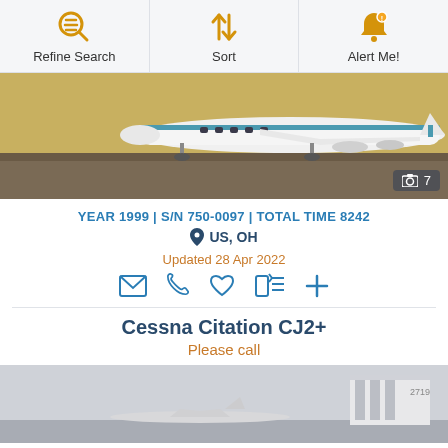Refine Search | Sort | Alert Me!
[Figure (photo): Business jet aircraft (Cessna Citation) parked on tarmac with tan/sandy background, teal and white livery. Photo count badge showing camera icon and 7.]
YEAR 1999 | S/N 750-0097 | TOTAL TIME 8242
US, OH
Updated 28 Apr 2022
Cessna Citation CJ2+
Please call
[Figure (photo): Cessna Citation CJ2+ aircraft on tarmac with overcast sky and hangar building in background.]